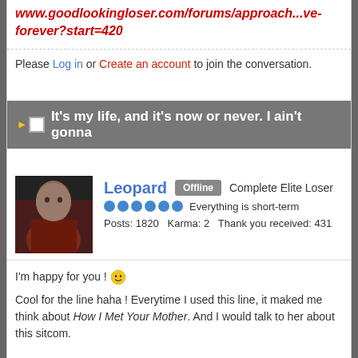www.goodlookingloser.com/forums/approach...ve-forever?start=420
Please Log in or Create an account to join the conversation.
It's my life, and it's now or never. I ain't gonna
Leopard  Offline  Complete Elite Loser  Everything is short-term  Posts: 1820  Karma: 2  Thank you received: 431
I'm happy for you ! 🙂

Cool for the line haha ! Everytime I used this line, it maked me think about How I Met Your Mother. And I would talk to her about this sitcom.